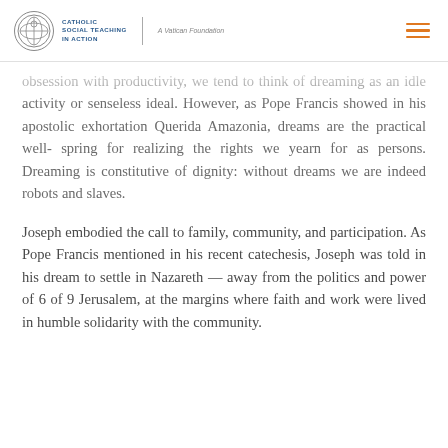CATHOLIC SOCIAL TEACHING IN ACTION | A Vatican Foundation
obsession with productivity, we tend to think of dreaming as an idle activity or senseless ideal. However, as Pope Francis showed in his apostolic exhortation Querida Amazonia, dreams are the practical well- spring for realizing the rights we yearn for as persons. Dreaming is constitutive of dignity: without dreams we are indeed robots and slaves.
Joseph embodied the call to family, community, and participation. As Pope Francis mentioned in his recent catechesis, Joseph was told in his dream to settle in Nazareth — away from the politics and power of 6 of 9 Jerusalem, at the margins where faith and work were lived in humble solidarity with the community.